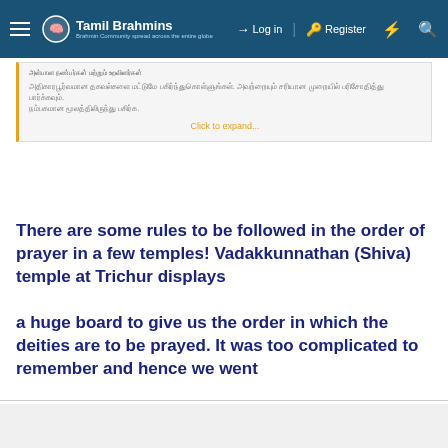Tamil Brahmins — Log in | Register
(Quoted Tamil text block) Click to expand...
There are some rules to be followed in the order of prayer in a few temples! Vadakkunnathan (Shiva) temple at Trichur displays a huge board to give us the order in which the deities are to be prayed. It was too complicated to remember and hence we went round the temple, praying in all sannadhis. 😎